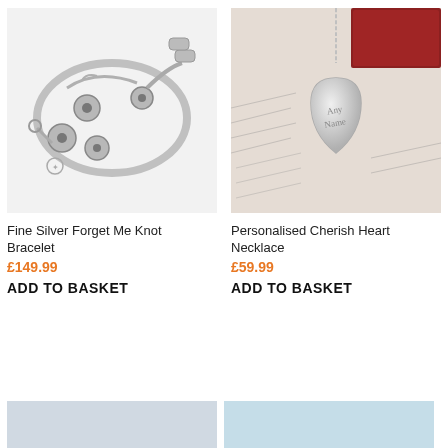[Figure (photo): Fine silver bracelet with forget-me-knot flower charms on a white background]
[Figure (photo): Personalised silver heart locket necklace engraved with 'Any Name' resting on handwritten paper with red book background]
Fine Silver Forget Me Knot Bracelet
£149.99
ADD TO BASKET
Personalised Cherish Heart Necklace
£59.99
ADD TO BASKET
[Figure (photo): Partial product image cropped at bottom left]
[Figure (photo): Partial product image cropped at bottom right]